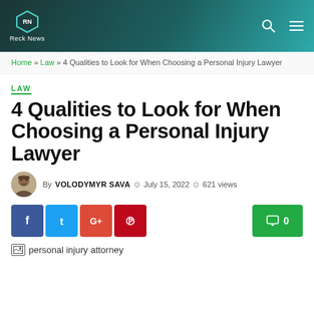Reck News
Home » Law » 4 Qualities to Look for When Choosing a Personal Injury Lawyer
LAW
4 Qualities to Look for When Choosing a Personal Injury Lawyer
By VOLODYMYR SAVA  July 15, 2022  621 views
f  t  G+  p  0
[Figure (illustration): personal injury attorney image placeholder]